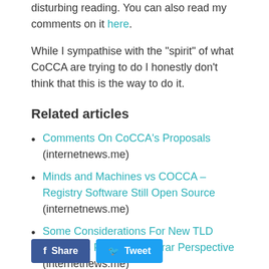disturbing reading. You can also read my comments on it here.
While I sympathise with the "spirit" of what CoCCA are trying to do I honestly don't think that this is the way to do it.
Related articles
Comments On CoCCA's Proposals (internetnews.me)
Minds and Machines vs COCCA – Registry Software Still Open Source (internetnews.me)
Some Considerations For New TLD Operators From A Registrar Perspective (internetnews.me)